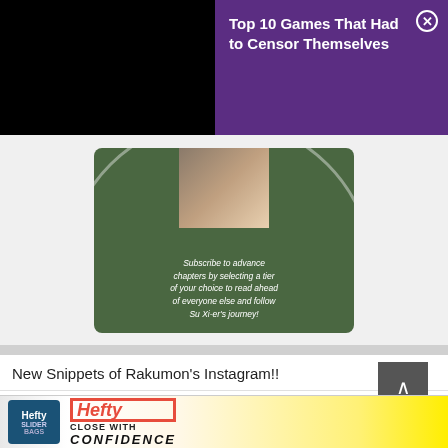[Figure (screenshot): Black rectangle representing a video/media area in the top-left]
[Figure (screenshot): Purple advertisement overlay with close button reading 'Top 10 Games That Had to Censor Themselves']
[Figure (screenshot): Green circular card with subscribe text: 'Subscribe to advance chapters by selecting a tier of your choice to read ahead of everyone else and follow Su Xi-er's journey!']
New Snippets of Rakumon's Instagram!!
[Figure (screenshot): Instagram profile snippet showing _rakumon_ with 106 followers and a 'View profile' button]
[Figure (screenshot): Hefty brand advertisement banner at the bottom with 'CLOSE WITH CONFIDENCE' slogan]